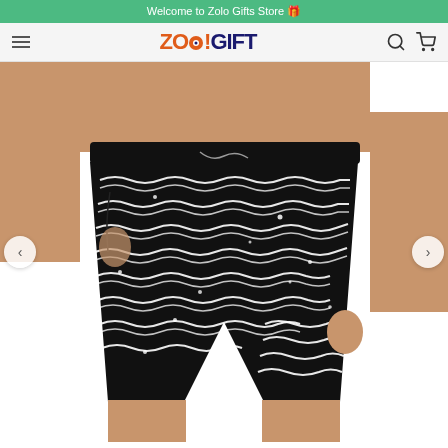Welcome to Zolo Gifts Store 🎁
[Figure (screenshot): E-commerce website header with ZOLO!GIFT logo, hamburger menu, search and cart icons on a light gray navigation bar]
[Figure (photo): Man wearing black board shorts/swim trunks with white wavy line pattern and small white dots, hands in pockets, torso and legs visible only]